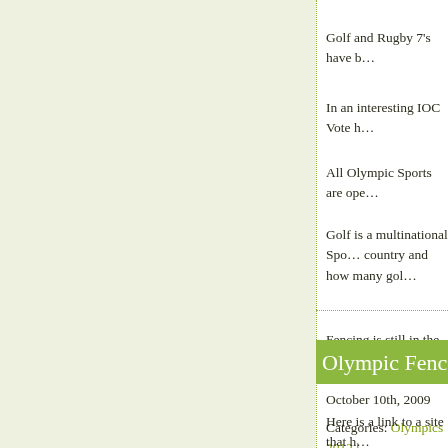Golf and Rugby 7's have b…
In an interesting IOC Vote h…
All Olympic Sports are ope…
Golf is a multinational Spo… country and how many gol…
Fencing is still in the progr… year cycle.
October 10th, 2009
Categories: Olympics 2012 |
Olympic Fenc…
Here is a link to a site that h…